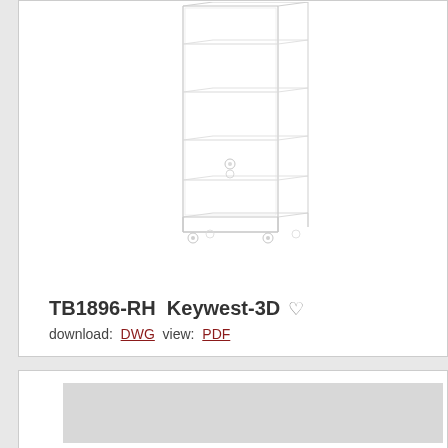[Figure (schematic): 3D technical schematic drawing of TB1896-RH Keywest-3D display cabinet/rack unit with multiple shelves and leveling feet, shown in isometric/perspective view]
TB1896-RH  Keywest-3D ♡
download:  DWG  view:  PDF
[Figure (other): Partial grey placeholder image at bottom of page, cut off]